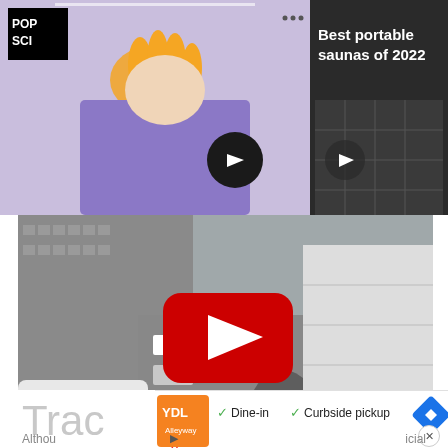[Figure (screenshot): Pop Sci advertisement banner showing child with orange substance on hands against lavender background, with POP SCI logo, ellipsis and X icons, navigation arrow button, and right panel showing dark background with text 'Best portable saunas of 2022' and a partial image of a quilted jacket]
[Figure (screenshot): YouTube video thumbnail showing a rooftop parkour scene with a person's arm extended, aerial view of city street with cars and buses below, buildings visible, YouTube play button (red with white triangle) centered on video]
[Figure (screenshot): Partial webpage showing 'Trac' text in large gray font, an advertisement with a restaurant logo (YDL), checkmarks for 'Dine-in' and 'Curbside pickup', a blue diamond navigation icon, a play button icon, and an X close icon. Bottom text reads 'Althou' on left and 'icial' on right. Close (x) button in bottom right corner.]